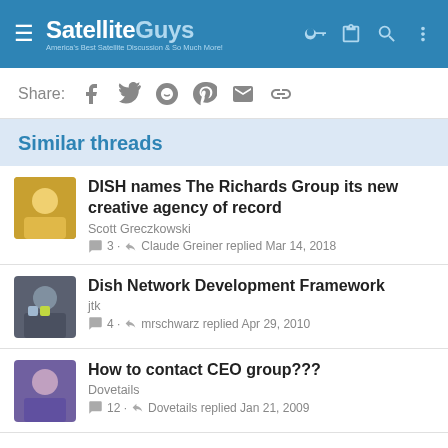SatelliteGuys — America's Best Satellite Discussion & So Much More!
Share:
Similar threads
DISH names The Richards Group its new creative agency of record
Scott Greczkowski
3 · Claude Greiner replied Mar 14, 2018
Dish Network Development Framework
jtk
4 · mrschwarz replied Apr 29, 2010
How to contact CEO group???
Dovetails
12 · Dovetails replied Jan 21, 2009